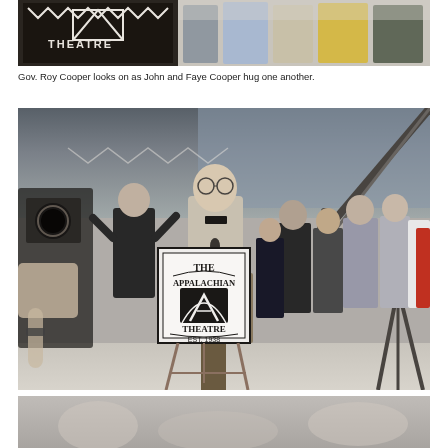[Figure (photo): Top portion of a photo showing people gathered outside The Appalachian Theatre, with the theatre signage visible and people in colorful clothing standing together.]
Gov. Roy Cooper looks on as John and Faye Cooper hug one another.
[Figure (photo): A man speaking at a podium outside The Appalachian Theatre (Est. 1938). A camera operator is in the foreground on the left, a microphone boom is visible on the right, and a crowd of people applauding stands behind the speaker. A large sign reading 'The Appalachian Theatre Est. 1938' is displayed on an easel.]
[Figure (photo): Partial bottom photo, cropped, showing an outdoor scene.]